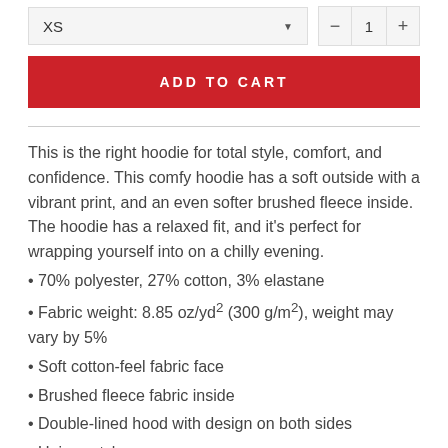XS
1
ADD TO CART
This is the right hoodie for total style, comfort, and confidence. This comfy hoodie has a soft outside with a vibrant print, and an even softer brushed fleece inside. The hoodie has a relaxed fit, and it's perfect for wrapping yourself into on a chilly evening.
• 70% polyester, 27% cotton, 3% elastane
• Fabric weight: 8.85 oz/yd² (300 g/m²), weight may vary by 5%
• Soft cotton-feel fabric face
• Brushed fleece fabric inside
• Double-lined hood with design on both sides
• Unisex style